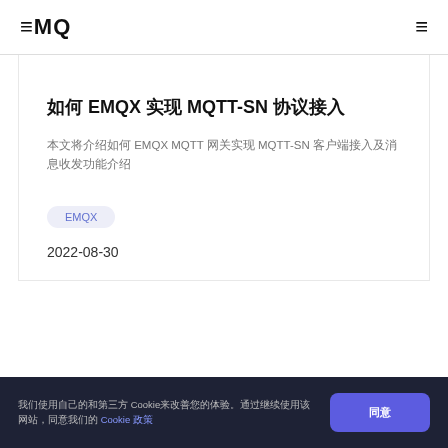≡MQ  ≡
如何 EMQX 实现 MQTT-SN 协议接入
本文将介绍如何 EMQX MQTT 网关实现 MQTT-SN 客户端接入及消息收发功能介绍
EMQX
2022-08-30
我们使用自己的和第三方 Cookie来改善您的体验。通过继续使用该网站，同意我们的 Cookie 政策  同意